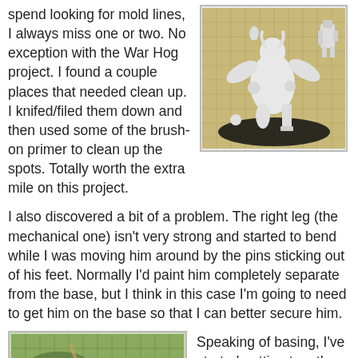spend looking for mold lines, I always miss one or two. No exception with the War Hog project. I found a couple places that needed clean up. I knifed/filed them down and then used some of the brush-on primer to clean up the spots. Totally worth the extra mile on this project.
[Figure (photo): White primed miniature figurine (War Hog) on a painting base, photographed against a gridded mat background]
I also discovered a bit of a problem. The right leg (the mechanical one) isn't very strong and started to bend while I was moving him around by the pins sticking out of his feet. Normally I'd paint him completely separate from the base, but I think in this case I'm going to need to get him on the base so that I can better secure him.
[Figure (photo): Partial view of a miniature base or terrain piece on a gridded mat, showing early basing work in progress]
Speaking of basing, I've started putting togeth—